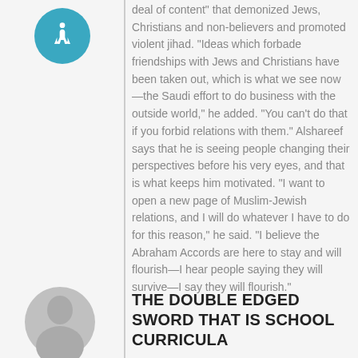[Figure (illustration): Circular icon with teal/blue background and white accessibility person symbol]
deal of content" that demonized Jews, Christians and non-believers and promoted violent jihad. "Ideas which forbade friendships with Jews and Christians have been taken out, which is what we see now—the Saudi effort to do business with the outside world," he added. "You can't do that if you forbid relations with them." Alshareef says that he is seeing people changing their perspectives before his very eyes, and that is what keeps him motivated. "I want to open a new page of Muslim-Jewish relations, and I will do whatever I have to do for this reason," he said. "I believe the Abraham Accords are here to stay and will flourish—I hear people saying they will survive—I say they will flourish."
[Figure (illustration): Partial gray circle avatar/profile icon at bottom left]
THE DOUBLE EDGED SWORD THAT IS SCHOOL CURRICULA